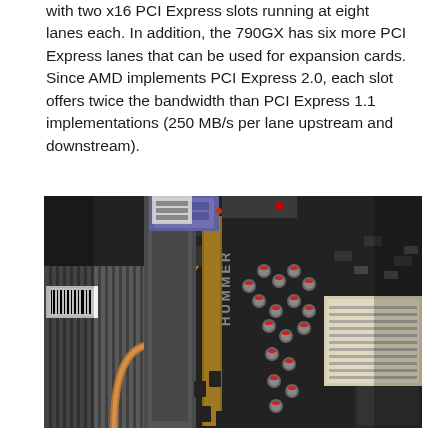with two x16 PCI Express slots running at eight lanes each. In addition, the 790GX has six more PCI Express lanes that can be used for expansion cards. Since AMD implements PCI Express 2.0, each slot offers twice the bandwidth than PCI Express 1.1 implementations (250 MB/s per lane upstream and downstream).
[Figure (photo): Close-up photograph of a motherboard (labeled HUMMER) showing PCI Express slots, heatsink with copper heatpipe, capacitors with red tops, VGA port, and other motherboard components.]